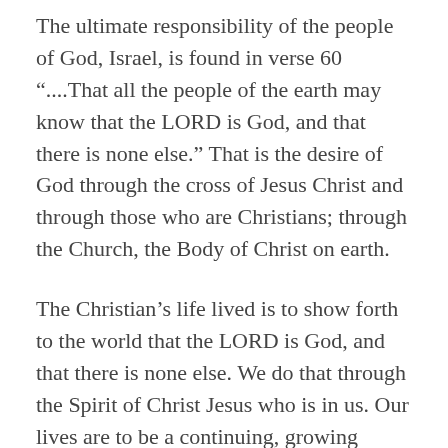The ultimate responsibility of the people of God, Israel, is found in verse 60 “....That all the people of the earth may know that the LORD is God, and that there is none else.” That is the desire of God through the cross of Jesus Christ and through those who are Christians; through the Church, the Body of Christ on earth.
The Christian’s life lived is to show forth to the world that the LORD is God, and that there is none else. We do that through the Spirit of Christ Jesus who is in us. Our lives are to be a continuing, growing testimony of the glory and power of God. Is it?
When the Church ceases to fear God; we cease to fear sin. When we have ceased to fear sin